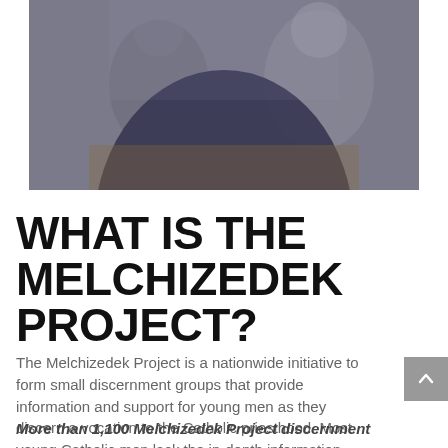[Figure (photo): Two men sitting at a table in conversation, photo is partially out of focus with a blurred foreground figure in dark clothing]
WHAT IS THE MELCHIZEDEK PROJECT?
The Melchizedek Project is a nationwide initiative to form small discernment groups that provide information and support for young men as they discern a vocation to the Catholic priesthood. Most young Catholic men lack the in-depth information they need to prayerfully discern the priesthood. Small discernment groups provide a good support structure for men as they “dive deep” into the discernment process.
More than 1,100 Melchizedek Project discernment